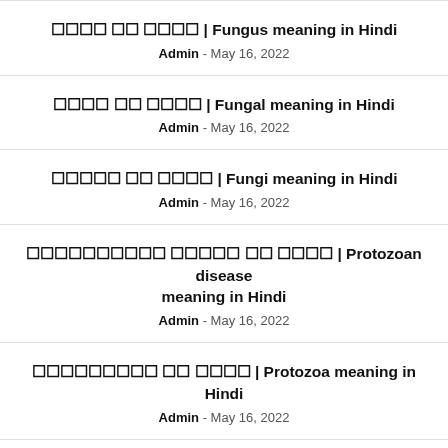फंगस का मतलब | Fungus meaning in Hindi
Admin - May 16, 2022
फंगल का मतलब | Fungal meaning in Hindi
Admin - May 16, 2022
फंगाई का मतलब | Fungi meaning in Hindi
Admin - May 16, 2022
प्रोटोज़ोअन रोग का मतलब | Protozoan disease meaning in Hindi
Admin - May 16, 2022
प्रोटोजोआ का मतलब | Protozoa meaning in Hindi
Admin - May 16, 2022